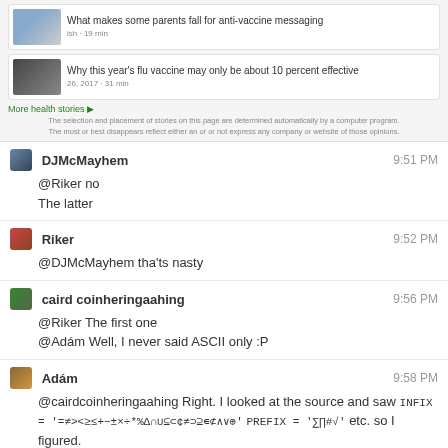[Figure (screenshot): News widget showing two health article thumbnails with headlines: 'What makes some parents fall for anti-vaccine messaging' and 'Why this year's flu vaccine may only be about 10 percent effective', with a 'More health stories' link and disclaimer text below.]
DJMcMayhem  9:51 PM
@Riker no
The latter
Riker  9:52 PM
@DJMcMayhem tha'ts nasty
caird coinheringaahing  9:56 PM
@Riker The first one
@Adám Well, I never said ASCII only :P
Adám  9:58 PM
@cairdcoinheringaahing Right. I looked at the source and saw INFIX = '=≠><≥≤+-±×÷*%Δ∩∪⊆⊂¢≠⊃⊇∊⊄∧∨⊕' PREFIX = '∑∏#√' etc. so I figured.
0 - 13h  13 - 15h  15 - 22h  22 - 23h
← prev day   next day →   last day »
join this room